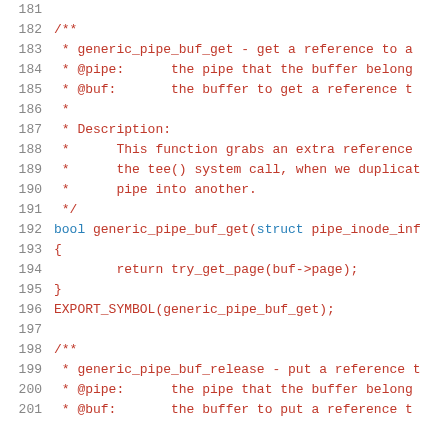Source code listing lines 181-201, C kernel code for generic_pipe_buf_get and generic_pipe_buf_release functions